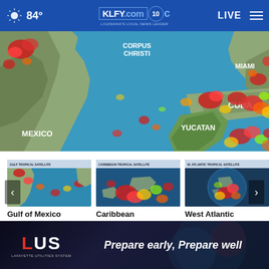84° KLFY.com 10  LIVE
[Figure (map): Satellite weather radar map showing Gulf of Mexico region with storm cells over Cuba, Yucatan, Miami, Corpus Christi, and Mexico visible in red, yellow, green colors indicating precipitation intensity]
[Figure (screenshot): Gulf of Mexico Satellite thumbnail radar image]
Gulf of Mexico Satellite
[Figure (screenshot): Caribbean Satellite thumbnail radar image]
Caribbean Satellite
[Figure (screenshot): West Atlantic Satellite thumbnail radar image]
West Atlantic Satellite
REGIO
[Figure (infographic): LUS Lafayette Utilities System advertisement banner: Prepare early, Prepare well]